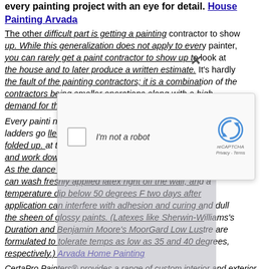every painting project with an eye for detail. House Painting Arvada
The other difficult part is getting a painting contractor to show up. While this generalization does not apply to every painter, you can rarely get a paint contractor to show up to look at the house and to later produce a written estimate. It's hardly the fault of the painting contractors; it is a combination of the contractors being smaller operations along with a high demand for their work.
Every painting ... as ladders go ... led and folded up. ... at the top and work down. 2) Work in the shade, out of the sun's glare. As the dance proceeds, keep an eye on the weather. Rain can wash freshly applied latex right off the wall, and a temperature dip below 50 degrees F two days after application can interfere with adhesion and curing and dull the sheen of glossy paints. (Latexes like Sherwin-Williams's Duration and Benjamin Moore's MoorGard Low Lustre are formulated to tolerate temps as low as 35 and 40 degrees, respectively.) Arvada Home Painting
CertaPro Painters® provides a range of custom interior and exterior painting services, allowing for a smooth, seamless experience and exceptional results in every home. Whether you're having your two-story
[Figure (screenshot): reCAPTCHA dialog box with 'I'm not a robot' checkbox and Google reCAPTCHA logo with Privacy - Terms text]